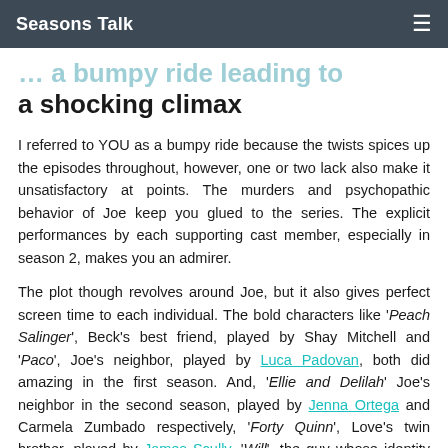Seasons Talk
… a bumpy ride leading to a shocking climax
I referred to YOU as a bumpy ride because the twists spices up the episodes throughout, however, one or two lack also make it unsatisfactory at points. The murders and psychopathic behavior of Joe keep you glued to the series. The explicit performances by each supporting cast member, especially in season 2, makes you an admirer.
The plot though revolves around Joe, but it also gives perfect screen time to each individual. The bold characters like 'Peach Salinger', Beck's best friend, played by Shay Mitchell and 'Paco', Joe's neighbor, played by Luca Padovan, both did amazing in the first season. And, 'Ellie and Delilah' Joe's neighbor in the second season, played by Jenna Ortega and Carmela Zumbado respectively, 'Forty Quinn', Love's twin brother, played by James Scully, 'Will', the guy whose identity Joe steals and keeps him captive and later on